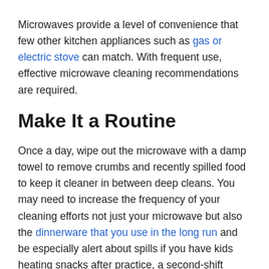Microwaves provide a level of convenience that few other kitchen appliances such as gas or electric stove can match. With frequent use, effective microwave cleaning recommendations are required.
Make It a Routine
Once a day, wipe out the microwave with a damp towel to remove crumbs and recently spilled food to keep it cleaner in between deep cleans. You may need to increase the frequency of your cleaning efforts not just your microwave but also the dinnerware that you use in the long run and be especially alert about spills if you have kids heating snacks after practice, a second-shift worker making